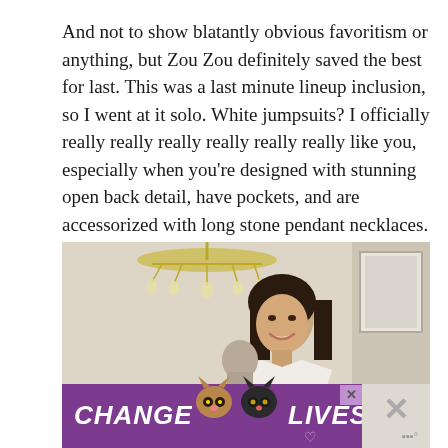And not to show blatantly obvious favoritism or anything, but Zou Zou definitely saved the best for last. This was a last minute lineup inclusion, so I went at it solo. White jumpsuits? I officially really really really really really really like you, especially when you're designed with stunning open back detail, have pockets, and are accessorized with long stone pendant necklaces.
[Figure (photo): A woman with long dark hair smiling, standing in an elegant interior with a chandelier visible in the upper left. A purple advertisement banner overlays the bottom reading 'CHANGE [cat icons] LIVES' with close buttons.]